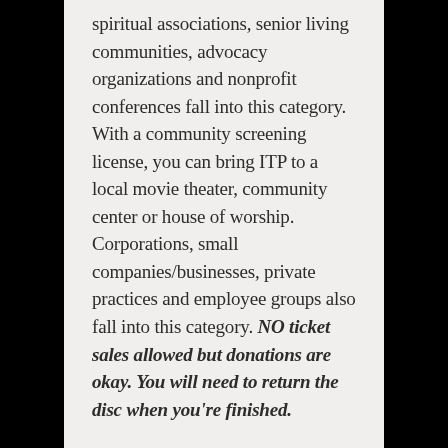spiritual associations, senior living communities, advocacy organizations and nonprofit conferences fall into this category. With a community screening license, you can bring ITP to a local movie theater, community center or house of worship. Corporations, small companies/businesses, private practices and employee groups also fall into this category. NO ticket sales allowed but donations are okay. You will need to return the disc when you're finished.
IMPORTANT PLEASE READ BEFORE PURCHASE: